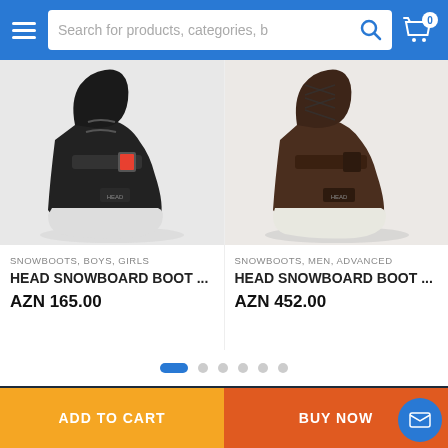Search for products, categories, b
[Figure (photo): Black snowboard boot (left product card)]
SNOWBOOTS, BOYS, GIRLS
HEAD SNOWBOARD BOOT ...
AZN 165.00
[Figure (photo): Brown/dark snowboard boot (right product card)]
SNOWBOOTS, MEN, ADVANCED
HEAD SNOWBOARD BOOT ...
AZN 452.00
Sportsystem.az / 2021 by Elcin Abdulov All Rights Reserved.
ADD TO CART
BUY NOW